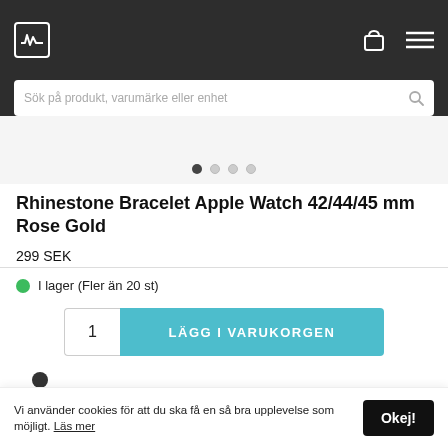Wearhouse logo, cart icon, menu icon, search bar: Sök på produkt, varumärke eller enhet
[Figure (illustration): Product image carousel area with navigation dots (4 dots, first active)]
Rhinestone Bracelet Apple Watch 42/44/45 mm Rose Gold
299 SEK
I lager (Fler än 20 st)
1  LÄGG I VARUKORGEN
Vi använder cookies för att du ska få en så bra upplevelse som möjligt. Läs mer
Okej!